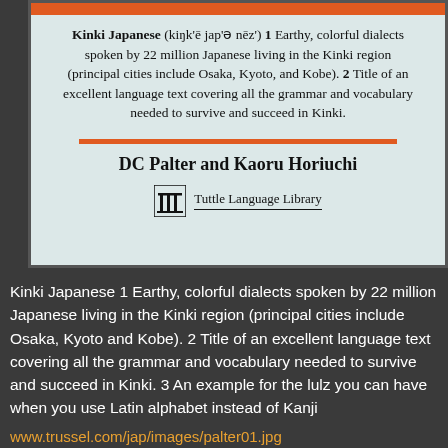[Figure (illustration): Book cover for 'Kinki Japanese' by DC Palter and Kaoru Horiuchi, published by Tuttle Language Library. Light blue-green background with orange bar at top and orange horizontal divider. Shows definition text and publisher logo.]
Kinki Japanese 1 Earthy, colorful dialects spoken by 22 million Japanese living in the Kinki region (principal cities include Osaka, Kyoto and Kobe). 2 Title of an excellent language text covering all the grammar and vocabulary needed to survive and succeed in Kinki. 3 An example for the lulz you can have when you use Latin alphabet instead of Kanji
www.trussel.com/jap/images/palter01.jpg